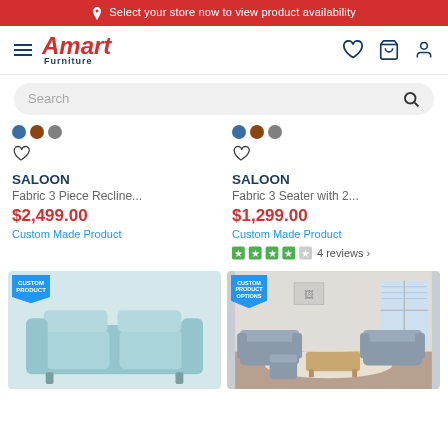Select your store now to view product availability
[Figure (logo): Amart Furniture logo with hamburger menu and nav icons (heart, cart, user)]
[Figure (screenshot): Search bar with placeholder text 'Search' and search icon]
SALOON
Fabric 3 Piece Recline...
$2,499.00
Custom Made Product
SALOON
Fabric 3 Seater with 2...
$1,299.00
Custom Made Product
4 reviews
[Figure (photo): Light blue fabric 2-seater recliner sofa with Custom Product badge]
[Figure (photo): Gray recliner sofa set in a living room with Custom Product Options badge]